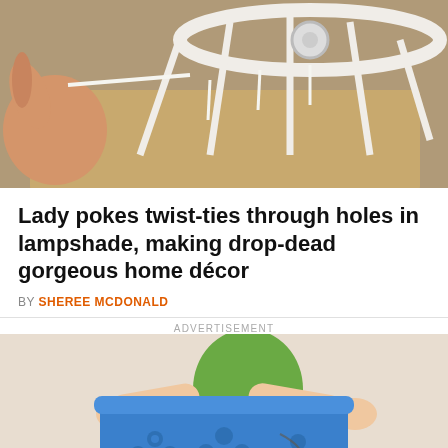[Figure (photo): Close-up photo of a hand poking white twist-ties through holes in a lampshade wire frame, with cardboard visible below]
Lady pokes twist-ties through holes in lampshade, making drop-dead gorgeous home décor
BY SHEREE MCDONALD
ADVERTISEMENT
[Figure (illustration): Illustrated image of a person in a green top and brown skirt holding a blue laundry basket]
© DIY Everywhere  About Ads  Terms  Privacy  Do Not Sell My Info